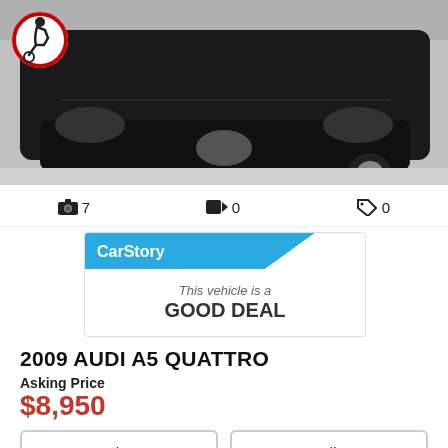[Figure (photo): Front view of a dark-colored Audi A5 Quattro photographed from below, showing front bumper, grille, and partial wheel. A wheelchair accessibility icon badge is visible in the top-left corner.]
📷 7   🎥 0   🏷️ 0
[Figure (logo): CarStory badge with blue diagonal header containing 'CarStory' text, and body text reading 'This vehicle is a GOOD DEAL']
2009 AUDI A5 QUATTRO
Asking Price
$8,950
Get Finance
Email Us
Proxy Bid
Bid Online
Buy It Now